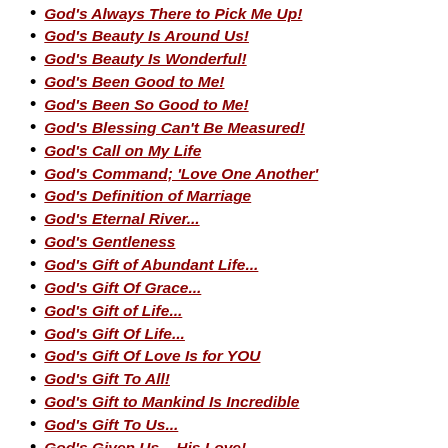God's Always There to Pick Me Up!
God's Beauty Is Around Us!
God's Beauty Is Wonderful!
God's Been Good to Me!
God's Been So Good to Me!
God's Blessing Can't Be Measured!
God's Call on My Life
God's Command; 'Love One Another'
God's Definition of Marriage
God's Eternal River...
God's Gentleness
God's Gift of Abundant Life...
God's Gift Of Grace...
God's Gift of Life...
God's Gift Of Life...
God's Gift Of Love Is for YOU
God's Gift To All!
God's Gift to Mankind Is Incredible
God's Gift To Us...
God's Given Us... His Love!
God's Grace Change My Life!
God's Grace for My Sin...
God's Grace Is Greater Than Our Sin
God's Grace Is Unlimited!
God's Greatest Gift...
God's Holiness...
God's Judgement Is Coming!
God's Judgment Day
God's Judgment Is Coming to Church!
God's Judgment Is Coming to This Wo